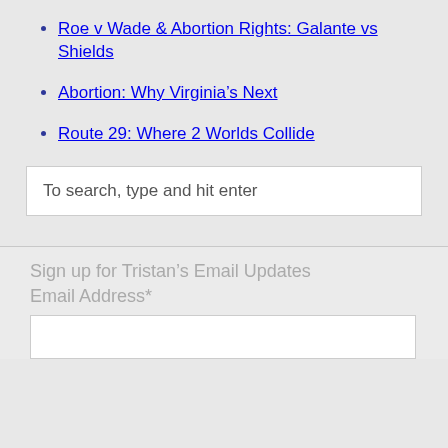Roe v Wade & Abortion Rights: Galante vs Shields
Abortion: Why Virginia's Next
Route 29: Where 2 Worlds Collide
To search, type and hit enter
Sign up for Tristan's Email Updates
Email Address*